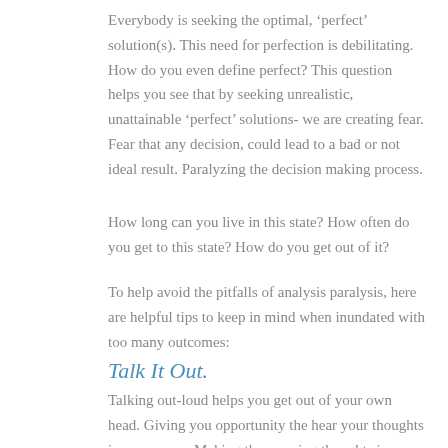Everybody is seeking the optimal, ‘perfect’ solution(s). This need for perfection is debilitating. How do you even define perfect? This question helps you see that by seeking unrealistic, unattainable ‘perfect’ solutions- we are creating fear. Fear that any decision, could lead to a bad or not ideal result. Paralyzing the decision making process.
How long can you live in this state? How often do you get to this state? How do you get out of it?
To help avoid the pitfalls of analysis paralysis, here are helpful tips to keep in mind when inundated with too many outcomes:
Talk It Out.
Talking out-loud helps you get out of your own head. Giving you opportunity the hear your thoughts in a new way. Making those racing thoughts in your mind real. Creating an aha moment of: “Wow, that’s what I said!”